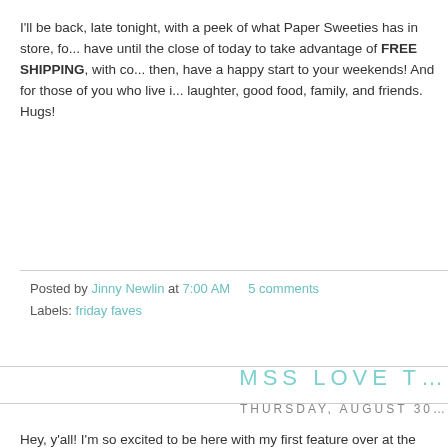I'll be back, late tonight, with a peek of what Paper Sweeties has in store, fo... have until the close of today to take advantage of FREE SHIPPING, with co... then, have a happy start to your weekends!  And for those of you who live i... laughter, good food, family, and friends.  Hugs!
Posted by Jinny Newlin at 7:00 AM   5 comments
Labels: friday faves
MSS LOVE T...
THURSDAY, AUGUST 30...
Hey, y'all!  I'm so excited to be here with my first feature over at the Market S... the Online Shop!  You can find the complete stamp list and their links in my -... Check it out!
[Figure (photo): Partial view of a craft/scrapbooking project showing geometric shapes, grid paper, a teal/blue circular element, and pink/red patterned paper strips]